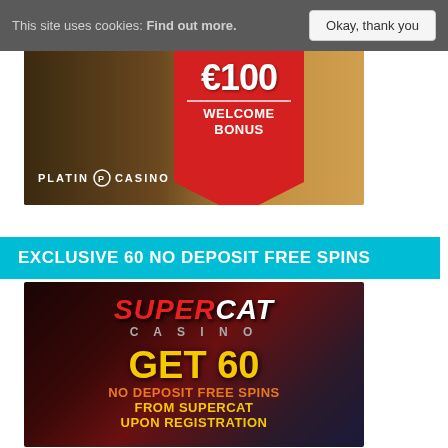This site uses cookies: Find out more. Okay, thank you
[Figure (photo): Platin Casino banner showing €100 Welcome Bonus with a red ribbon/pennant shape, person in background, and Platin Casino logo at bottom left]
EXCLUSIVE 60 NO DEPOSIT FREE SPINS
[Figure (photo): SuperCat Casino promotional banner with red/dark background showing: SUPERCAT CASINO logo, GET 60, NO DEPOSIT FREE SPINS FROM SUPERCAT UPON REGISTRATION text in orange and yellow]